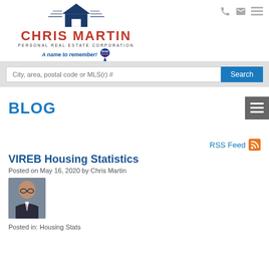[Figure (logo): Chris Martin Personal Real Estate Corporation logo with house icon and RE/MAX balloon]
City, area, postal code or MLS(r) #
BLOG
RSS Feed
VIREB Housing Statistics
Posted on May 16, 2020 by Chris Martin
[Figure (photo): Author headshot photo of Chris Martin in suit]
Posted in: Housing Stats